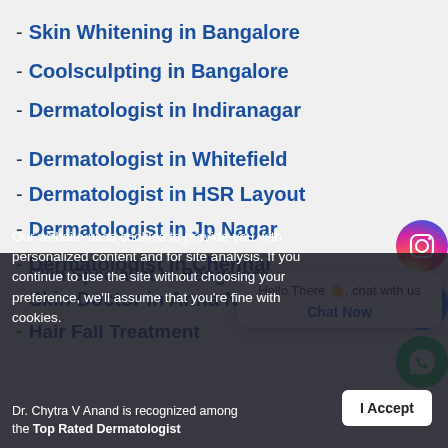- Skin Whitening in Bangalore
- Coolsculpting in Bangalore
- Dermatologist in Indiranagar
- Dermatologist in Whitefield
- Dermatologist in HSR Layout
- Dermatologist in Jp Nagar
- Dermatologist in Chennai
- Skin Doctor in Anna Nagar
- Hair Fall Treatment
- Skin Specialist in Bangalore
Our website uses cookies to provide you with personalized content and for site analysis. If you continue to use the site without choosing your preference, we'll assume that you're fine with cookies.
Dr. Chytra V Anand is recognized among the Top Rated Dermatologist